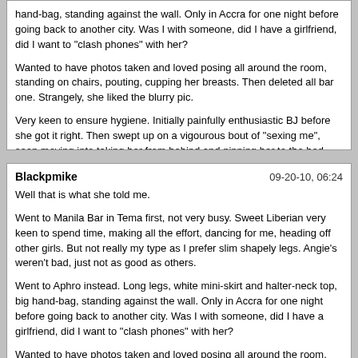hand-bag, standing against the wall. Only in Accra for one night before going back to another city. Was I with someone, did I have a girlfriend, did I want to "clash phones" with her?

Wanted to have photos taken and loved posing all around the room, standing on chairs, pouting, cupping her breasts. Then deleted all bar one. Strangely, she liked the blurry pic.

Very keen to ensure hygiene. Initially painfully enthusiastic BJ before she got it right. Then swept up on a vigourous bout of "sexing me", soon moving into taking her from behind and pinning her to the bed, holding her hads outstretched. Very tight and dripping wet, arching up and twisting around to kiss. Fell asleep and I had to go to work soon afterwards. Sadly, her phone was out of charge, she didn't know it and I gave her a number for an occasionally used SIM card that doesn't seem to work now. So it probably really was for one night only.

Some last memories.

SO8
Blackpmike | 09-20-10, 06:24

Well that is what she told me.

Went to Manila Bar in Tema first, not very busy. Sweet Liberian very keen to spend time, making all the effort, dancing for me, heading off other girls. But not really my type as I prefer slim shapely legs. Angie's weren't bad, just not as good as others.

Went to Aphro instead. Long legs, white mini-skirt and halter-neck top, big hand-bag, standing against the wall. Only in Accra for one night before going back to another city. Was I with someone, did I have a girlfriend, did I want to "clash phones" with her?

Wanted to have photos taken and loved posing all around the room, standing on chairs, pouting, cupping her breasts. Then deleted all bar one. Strangely,